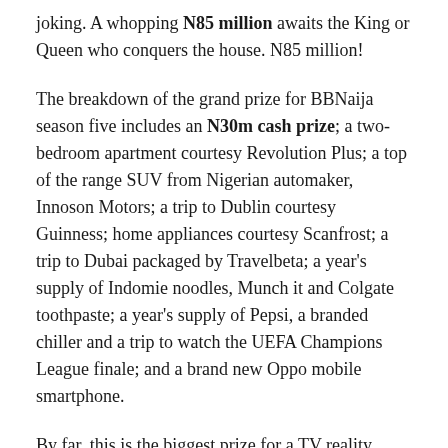joking. A whopping N85 million awaits the King or Queen who conquers the house. N85 million!
The breakdown of the grand prize for BBNaija season five includes an N30m cash prize; a two-bedroom apartment courtesy Revolution Plus; a top of the range SUV from Nigerian automaker, Innoson Motors; a trip to Dublin courtesy Guinness; home appliances courtesy Scanfrost; a trip to Dubai packaged by Travelbeta; a year's supply of Indomie noodles, Munch it and Colgate toothpaste; a year's supply of Pepsi, a branded chiller and a trip to watch the UEFA Champions League finale; and a brand new Oppo mobile smartphone.
By far, this is the biggest prize for a TV reality show in Africa. Imagine what you could do with all those goodies!